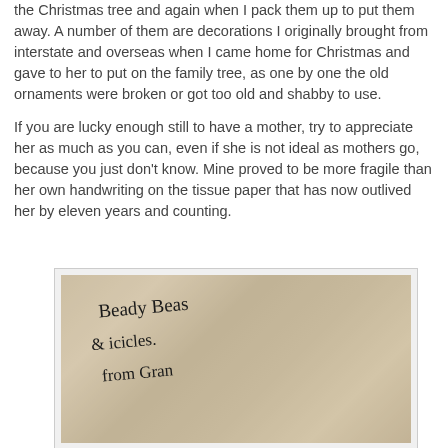the Christmas tree and again when I pack them up to put them away. A number of them are decorations I originally brought from interstate and overseas when I came home for Christmas and gave to her to put on the family tree, as one by one the old ornaments were broken or got too old and shabby to use.
If you are lucky enough still to have a mother, try to appreciate her as much as you can, even if she is not ideal as mothers go, because you just don't know. Mine proved to be more fragile than her own handwriting on the tissue paper that has now outlived her by eleven years and counting.
[Figure (photo): A photograph of crinkled tissue paper with handwritten text in cursive. The handwriting reads 'Beady Beas & icicles. from Gran' (partially visible). The paper appears old and wrinkled, photographed against a light background.]